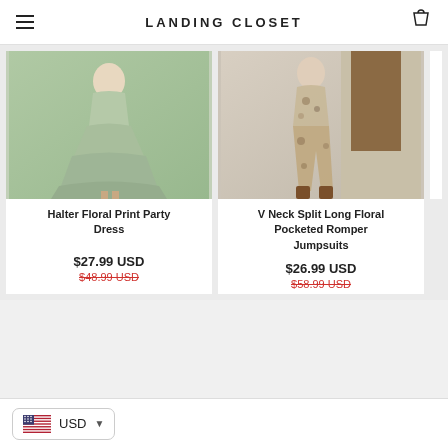LANDING CLOSET
[Figure (photo): Woman wearing a sage green halter floral print party dress with a tiered maxi skirt]
Halter Floral Print Party Dress
$27.99 USD
$48.99 USD
[Figure (photo): Woman wearing a floral patterned long romper jumpsuit with brown boots]
V Neck Split Long Floral Pocketed Romper Jumpsuits
$26.99 USD
$58.99 USD
USD